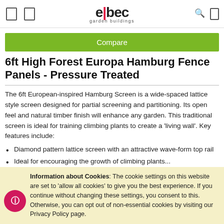elbec garden buildings
Compare
6ft High Forest Europa Hamburg Fence Panels - Pressure Treated
The 6ft European-inspired Hamburg Screen is a wide-spaced lattice style screen designed for partial screening and partitioning. Its open feel and natural timber finish will enhance any garden. This traditional screen is ideal for training climbing plants to create a 'living wall'. Key features include:
Diamond pattern lattice screen with an attractive wave-form top rail
Ideal for encouraging the growth of climbing plants...
Information about Cookies: The cookie settings on this website are set to 'allow all cookies' to give you the best experience. If you continue without changing these settings, you consent to this. Otherwise, you can opt out of non-essential cookies by visiting our Privacy Policy page.